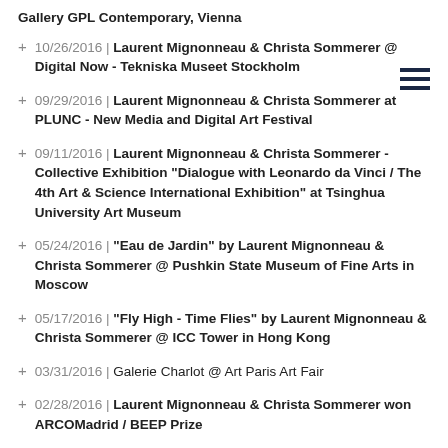Gallery GPL Contemporary, Vienna
10/26/2016 | Laurent Mignonneau & Christa Sommerer @ Digital Now - Tekniska Museet Stockholm
09/29/2016 | Laurent Mignonneau & Christa Sommerer at PLUNC - New Media and Digital Art Festival
09/11/2016 | Laurent Mignonneau & Christa Sommerer - Collective Exhibition "Dialogue with Leonardo da Vinci / The 4th Art & Science International Exhibition" at Tsinghua University Art Museum
05/24/2016 | "Eau de Jardin" by Laurent Mignonneau & Christa Sommerer @ Pushkin State Museum of Fine Arts in Moscow
05/17/2016 | "Fly High - Time Flies" by Laurent Mignonneau & Christa Sommerer @ ICC Tower in Hong Kong
03/31/2016 | Galerie Charlot @ Art Paris Art Fair
02/28/2016 | Laurent Mignonneau & Christa Sommerer won ARCOMadrid / BEEP Prize